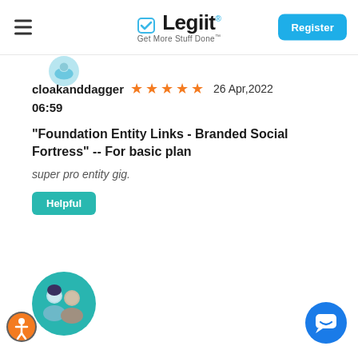Legiit — Get More Stuff Done — Register
[Figure (illustration): Partially visible user profile avatar circle at top of review card]
cloakanddagger ★★★★★ 26 Apr,2022 06:59
"Foundation Entity Links - Branded Social Fortress" -- For basic plan
super pro entity gig.
Helpful
[Figure (illustration): User profile avatar with two people (man and woman) on teal circular background]
[Figure (logo): Accessibility icon — circular orange/grey wheel figure]
[Figure (illustration): Blue chat/messaging floating button with white chat icon]